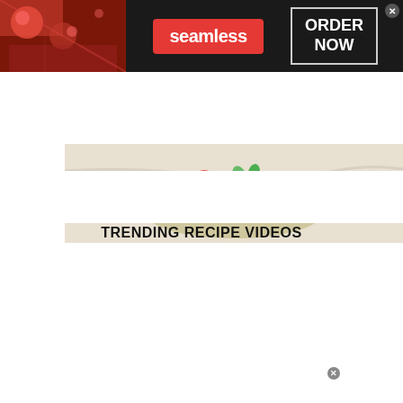[Figure (screenshot): Seamless food delivery advertisement banner with pizza image on dark background, red Seamless logo badge, and ORDER NOW button in white box]
[Figure (photo): Food photo showing a bowl of salad or dip with colorful vegetables including tomatoes and green peppers on white marble surface]
TRENDING RECIPE VIDEOS
[Figure (screenshot): Video thumbnail for 'pinch tips HOW TO GRATE CHEESE' showing grated cheese with play button overlay]
[Figure (screenshot): Laurel Road Loyalty Checking advertisement for nurses: 'The only checking rewards that pay you when you get paid.' with Learn More button and Laurel Road logo]